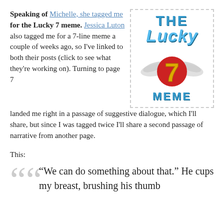Speaking of Michelle, she tagged me for the Lucky 7 meme. Jessica Luton also tagged me for a 7-line meme a couple of weeks ago, so I've linked to both their posts (click to see what they're working on). Turning to page 7 landed me right in a passage of suggestive dialogue, which I'll share, but since I was tagged twice I'll share a second passage of narrative from another page.
[Figure (logo): The Lucky 7 Meme logo: blue stylized text 'THE' at top, cursive blue 'Lucky' in middle, a winged number 7 in gold/red with wings, and blue bold 'MEME' at bottom, inside a dashed border box.]
This:
“We can do something about that.” He cups my breast, brushing his thumb